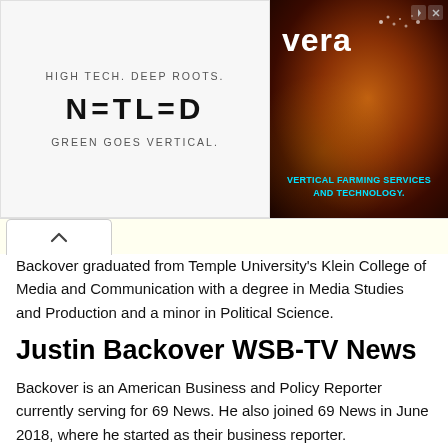[Figure (illustration): Advertisement banner split in two: left side shows Netled logo with taglines 'HIGH TECH. DEEP ROOTS.' and 'GREEN GOES VERTICAL.' on light gray background; right side shows Vera vertical farming ad with colorful face imagery and text 'VERTICAL FARMING SERVICES AND TECHNOLOGY.' in cyan on dark background.]
Backover graduated from Temple University's Klein College of Media and Communication with a degree in Media Studies and Production and a minor in Political Science.
Justin Backover WSB-TV News
Backover is an American Business and Policy Reporter currently serving for 69 News. He also joined 69 News in June 2018, where he started as their business reporter.
Backover is a native of Philadelphia, and he is happy to be working in his home state. Justin's interest in business, law, and politics offers a broad perspective on the business community in the Lehigh Valley.
In addition, he also spent the last 5 years working for the Philadelphia Court of Common Pleas as a clerk. In his spare time, he also enjoys